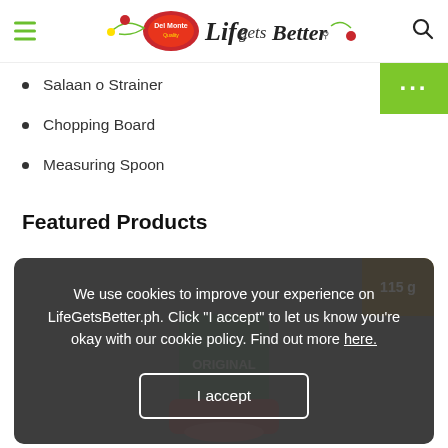Del Monte Life Gets Better
Salaan o Strainer
Chopping Board
Measuring Spoon
Featured Products
[Figure (screenshot): Del Monte Original product in a product card with cookie consent overlay. The overlay reads: We use cookies to improve your experience on LifeGetsBetter.ph. Click 'I accept' to let us know you're okay with our cookie policy. Find out more here. With an 'I accept' button. A gold badge in top right shows '115 g'.]
We use cookies to improve your experience on LifeGetsBetter.ph. Click "I accept" to let us know you're okay with our cookie policy. Find out more here.
I accept